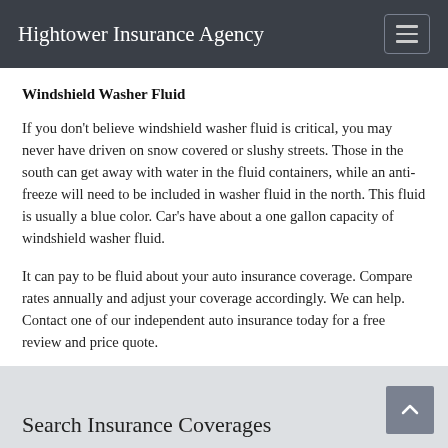Hightower Insurance Agency
Windshield Washer Fluid
If you don't believe windshield washer fluid is critical, you may never have driven on snow covered or slushy streets. Those in the south can get away with water in the fluid containers, while an anti-freeze will need to be included in washer fluid in the north. This fluid is usually a blue color. Car's have about a one gallon capacity of windshield washer fluid.
It can pay to be fluid about your auto insurance coverage. Compare rates annually and adjust your coverage accordingly. We can help. Contact one of our independent auto insurance today for a free review and price quote.
Search Insurance Coverages